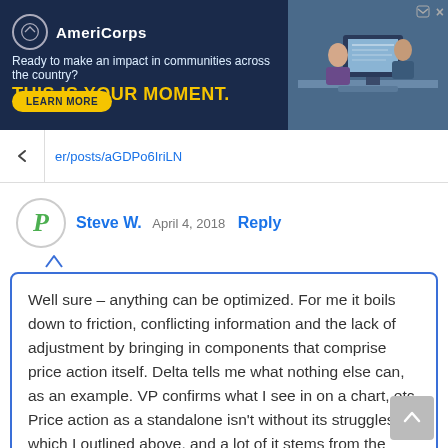[Figure (other): AmeriCorps advertisement banner. Logo: AmeriCorps with circle icon. Tagline: Ready to make an impact in communities across the country? THIS IS YOUR MOMENT. LEARN MORE button. Photo of students at computer on right side.]
er/posts/aGDPo6IriLN
Steve W.  April 4, 2018  Reply
Well sure – anything can be optimized. For me it boils down to friction, conflicting information and the lack of adjustment by bringing in components that comprise price action itself. Delta tells me what nothing else can, as an example. VP confirms what I see in on a chart, etc. Price action as a standalone isn't without its struggles, which I outlined above, and a lot of it stems from the discretionary side of things, much less so